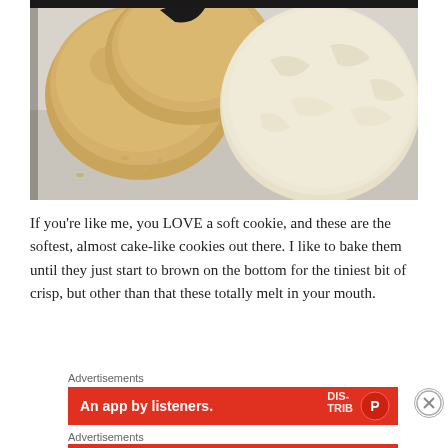[Figure (photo): Close-up photograph of soft sugar cookies on a light gray/white surface. A large pale cookie is prominent in the foreground, with golden-brown crinkled cookies stacked behind it. Cookie crumbs are scattered on the surface.]
If you're like me, you LOVE a soft cookie, and these are the softest, almost cake-like cookies out there. I like to bake them until they just start to brown on the bottom for the tiniest bit of crisp, but other than that these totally melt in your mouth.
Advertisements
[Figure (screenshot): Red advertisement banner reading 'An app by listeners.' with a dark logo/badge on right side]
Advertisements